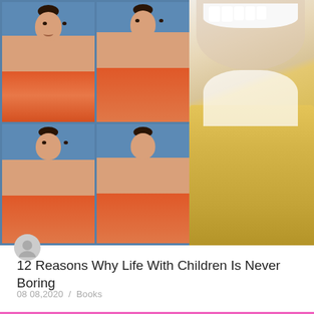[Figure (photo): Blog post thumbnail showing a grid of school portrait photos of a young girl with a grumpy/serious expression in a red floral outfit against a blue background (left side), and a photo of a smiling young girl in a yellow outfit (right side).]
12 Reasons Why Life With Children Is Never Boring
08 08,2020  /  Books
[Figure (photo): Pink/magenta background section with white text beginning 'Welcome to marriage']